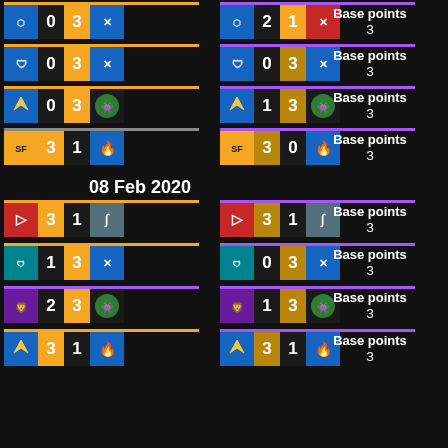[Figure (infographic): Esports match scores with team logos, showing match results with scores and base points. Multiple match rows with two score blocks each (actual result and predicted), showing team icons, scores, and 'Base points 3' labels. Date separator '08 Feb 2020' appears mid-page.]
Base points 3
Base points 3
Base points 3
08 Feb 2020
Base points 3
Base points 3
Base points 3
Base points 3